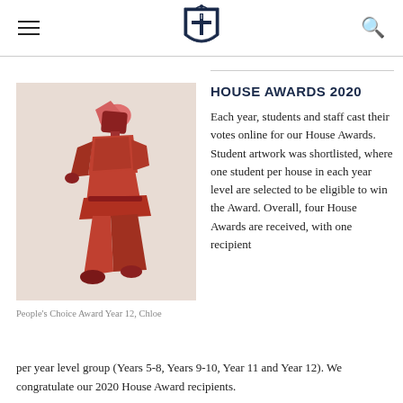[School crest logo, hamburger menu icon, search icon]
[Figure (illustration): Student artwork showing a stylized figure of a person walking, rendered in shades of red and orange on a light background. Cubist/geometric style.]
People's Choice Award Year 12, Chloe
HOUSE AWARDS 2020
Each year, students and staff cast their votes online for our House Awards. Student artwork was shortlisted, where one student per house in each year level are selected to be eligible to win the Award. Overall, four House Awards are received, with one recipient per year level group (Years 5-8, Years 9-10, Year 11 and Year 12). We congratulate our 2020 House Award recipients.